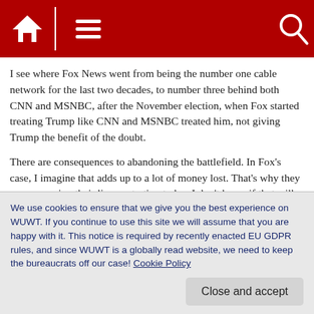[Figure (screenshot): Red navigation bar with home icon, hamburger menu icon, and search icon on a dark red background]
I see where Fox News went from being the number one cable network for the last two decades, to number three behind both CNN and MSNBC, after the November election, when Fox started treating Trump like CNN and MSNBC treated him, not giving Trump the benefit of the doubt.
There are consequences to abandoning the battlefield. In Fox’s case, I imagine that adds up to a lot of money lost. That’s why they are revamping their lineup starting today. I don’t know if that will help. Some of them showed their true, ugly face when they thought Trump was losing. They some
We use cookies to ensure that we give you the best experience on WUWT. If you continue to use this site we will assume that you are happy with it. This notice is required by recently enacted EU GDPR rules, and since WUWT is a globally read website, we need to keep the bureaucrats off our case! Cookie Policy
Close and accept